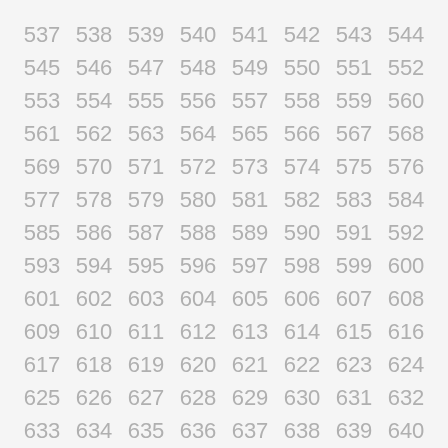537 538 539 540 541 542 543 544 545 546 547 548 549 550 551 552 553 554 555 556 557 558 559 560 561 562 563 564 565 566 567 568 569 570 571 572 573 574 575 576 577 578 579 580 581 582 583 584 585 586 587 588 589 590 591 592 593 594 595 596 597 598 599 600 601 602 603 604 605 606 607 608 609 610 611 612 613 614 615 616 617 618 619 620 621 622 623 624 625 626 627 628 629 630 631 632 633 634 635 636 637 638 639 640